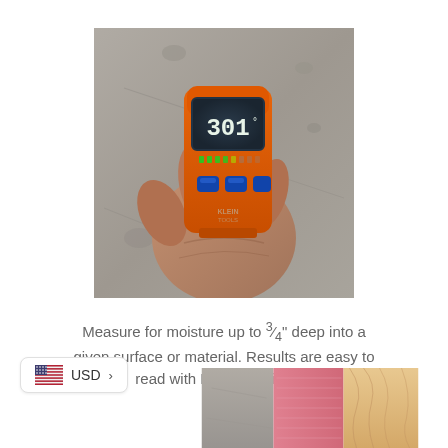[Figure (photo): A hand holding an orange Klein Tools moisture meter against a concrete surface. The meter displays '301' on its digital screen with LED indicators.]
Measure for moisture up to ¾" deep into a given surface or material. Results are easy to read with LED and display.
[Figure (infographic): USD currency selector badge with US flag icon and arrow, positioned at bottom left.]
[Figure (photo): Bottom portion of an image showing concrete surface, pink insulation material, and light wood samples side by side.]